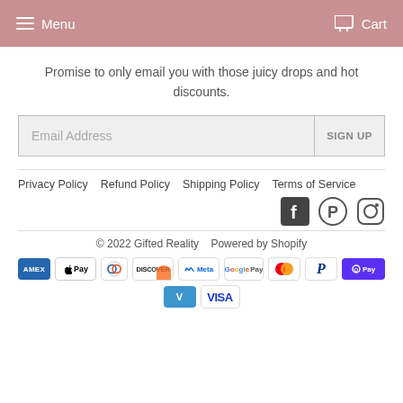Menu  Cart
Promise to only email you with those juicy drops and hot discounts.
[Figure (other): Email address input field with SIGN UP button]
Privacy Policy  Refund Policy  Shipping Policy  Terms of Service
[Figure (other): Social media icons: Facebook, Pinterest, Instagram]
© 2022 Gifted Reality  Powered by Shopify
[Figure (other): Payment method icons: Amex, Apple Pay, Diners, Discover, Meta, Google Pay, Mastercard, PayPal, Shop Pay, Venmo, Visa]